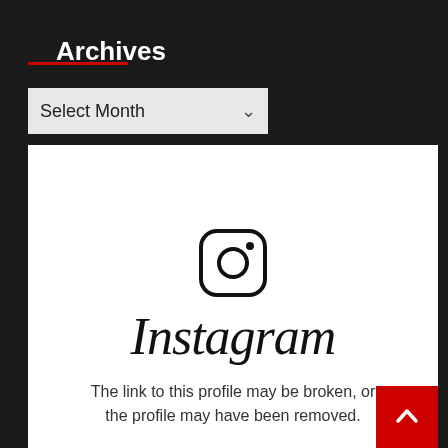Archives
[Figure (screenshot): A dropdown widget labeled 'Select Month' with a chevron arrow on dark background]
[Figure (logo): Instagram logo icon (camera outline in rounded square) and Instagram wordmark in script font, with broken profile message below]
The link to this profile may be broken, or the profile may have been removed.